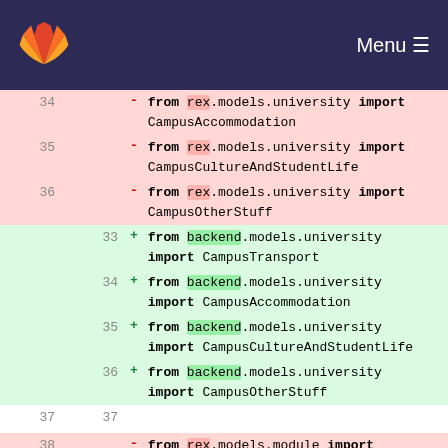GitLab header with logo and Menu
Code diff view showing lines 34-40 with removed lines (from rex.models.university import CampusAccommodation, CampusCultureAndStudentLife, CampusOtherStuff) and added lines (from backend.models.university import CampusTransport, CampusAccommodation, CampusCultureAndStudentLife, CampusOtherStuff) and removed lines (from rex.models.module import Currency, from rex.models.otherCore import Department, from rex.models.otherCore import Offer)